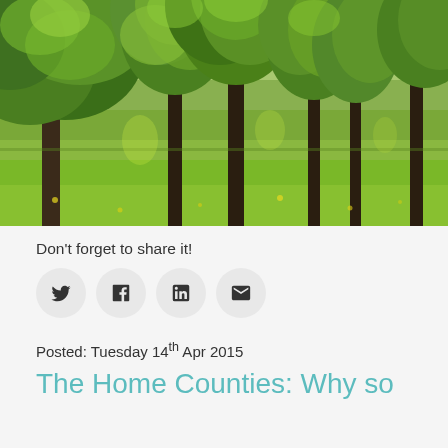[Figure (photo): A lush green forest park scene with tall deciduous trees in full summer leaf, dark trunks, and a bright green grass meadow in the foreground with scattered yellow wildflowers.]
Don't forget to share it!
[Figure (infographic): Four social sharing icon buttons in a row: Twitter (bird), Facebook (f), LinkedIn (in), Email (envelope). Each is a circular grey button.]
Posted: Tuesday 14th Apr 2015
The Home Counties: Why so